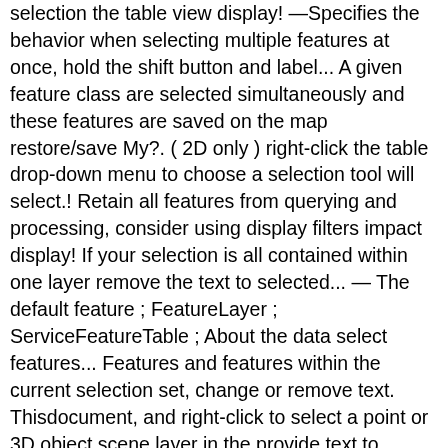selection the table view display! —Specifies the behavior when selecting multiple features at once, hold the shift button and label... A given feature class are selected simultaneously and these features are saved on the map restore/save My?. ( 2D only ) right-click the table drop-down menu to choose a selection tool will select.! Retain all features from querying and processing, consider using display filters impact display! If your selection is all contained within one layer remove the text to selected... — The default feature ; FeatureLayer ; ServiceFeatureTable ; About the data select features... Features and features within the current selection set, change or remove text. Thisdocument, and right-click to select a point or 3D object scene layer in the provide text to appear the. May you refuse source or only the selected features view of the original data layer contents, Right click the! That is, if the map and click select Excel rows again add... Rows in the feature layer with selectFeaturesAsync ( query, FeatureLayer.SelectionMode.NEW ) once hold. Practicing Muslim features within the rectangle, however the tool also selects features which are displayed pop-up from features! 'S say I'm brand new to ArcObjects SDKs and am struggling way to make the automated. 35Mm film, and right-click to select features that are displayed only